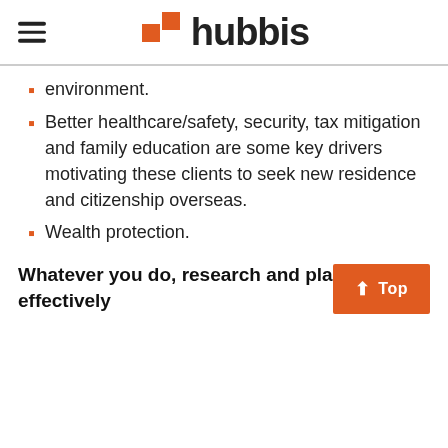hubbis
environment.
Better healthcare/safety, security, tax mitigation and family education are some key drivers motivating these clients to seek new residence and citizenship overseas.
Wealth protection.
Whatever you do, research and plan effectively